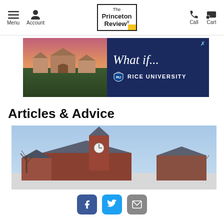Menu | Account | The Princeton Review | Call | Cart
[Figure (photo): Advertisement banner: left half shows aerial photo of a university campus at sunset, right half shows dark blue background with italic text 'What if...' and Rice University logo and name]
Articles & Advice
[Figure (photo): Photo of a university campus building with a clock tower, brick architecture, bare trees, and blue sky]
[Figure (infographic): Social sharing buttons: Facebook (blue), Twitter (teal), Email (gray)]